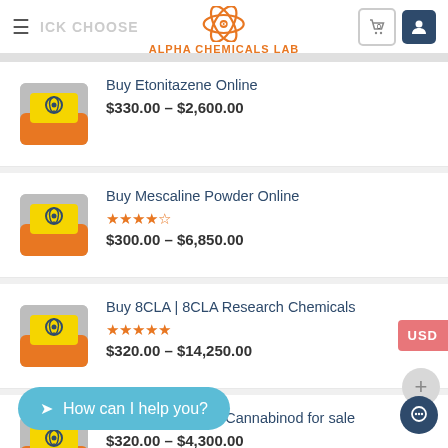ALPHA CHEMICALS LAB
Buy Etonitazene Online – $330.00 – $2,600.00
Buy Mescaline Powder Online – $300.00 – $6,850.00
Buy 8CLA | 8CLA Research Chemicals – $320.00 – $14,250.00
4F-ADB Synthetic Cannabinod for sale – $320.00 – $4,300.00
How can I help you?